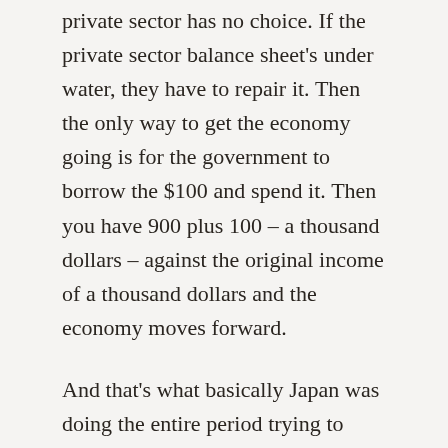private sector has no choice. If the private sector balance sheet's under water, they have to repair it. Then the only way to get the economy going is for the government to borrow the $100 and spend it. Then you have 900 plus 100 – a thousand dollars – against the original income of a thousand dollars and the economy moves forward.
And that's what basically Japan was doing the entire period trying to keep the GDP from falling so the private sector has the income to repair their balance sheets.
MALLABY: But – so Ron, if the – if the – if the picture here is that when the private sector is determined to save, it's good if their government